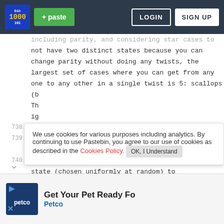[Figure (screenshot): Pastebin website screenshot with navigation bar showing logo, paste button, login and sign up buttons, code content with line numbers, cookie consent popup, Pastebin sign up popup with Hello speech bubble, and Petco advertisement banner.]
Pastebin navigation: + paste | LOGIN | SIGN UP
including parity, and considering star cases to not have two distinct states because you can change parity without doing any twists, the largest set of cases where you can get from any one to any other in a single twist is 5: scallops (b Th ig
738.
739. Th to
740. Th
state (chosen uniformly at random) to
We use cookies for various purposes including analytics. By continuing to use Pastebin, you agree to our use of cookies as described in the Cookies Policy. OK, I Understand
Not a member of Pastebin yet? Sign Up, it unlocks many cool features!
[Figure (infographic): Petco advertisement: Get Your Pet Ready Fo... with Petco logo]
Get Your Pet Ready Fo... Petco